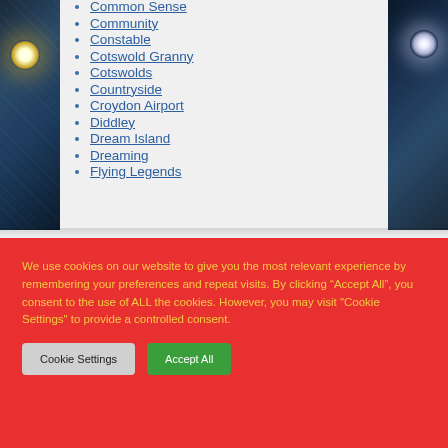[Figure (photo): Left strip: snowy night scene with a glowing warm light on a stone wall]
[Figure (photo): Right strip: snowy night scene with a bright white street lamp light]
Common Sense
Community
Constable
Cotswold Granny
Cotswolds
Countryside
Croydon Airport
Diddley
Dream Island
Dreaming
Flying Legends
We use cookies on our website to give you the most relevant experience by remembering your preferences and repeat visits. By clicking “Accept All”, you consent to the use of ALL the cookies. However, you may visit "Cookie Settings" to provide a controlled consent.